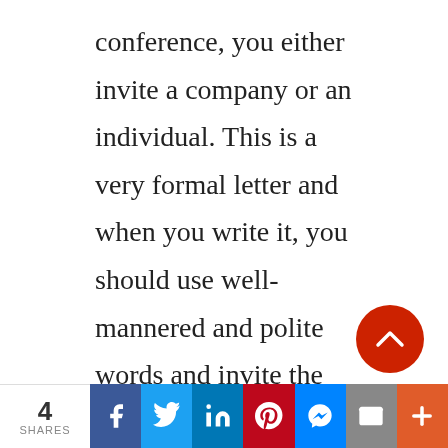conference, you either invite a company or an individual. This is a very formal letter and when you write it, you should use well-mannered and polite words and invite the reader with respect to your conference.

Also, while writing this letter, make sure to include the necessary details in the letter regarding the exhibition, i.e.
[Figure (other): Social sharing bar with share count (4 SHARES), Facebook, Twitter, LinkedIn, Pinterest, Messenger, Email, and More buttons. Also a red scroll-to-top circular button above the bar.]